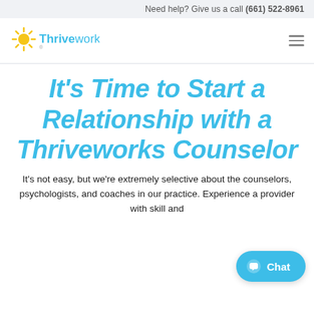Need help? Give us a call (661) 522-8961
[Figure (logo): Thriveworks logo with sun rays icon and company name]
It's Time to Start a Relationship with a Thriveworks Counselor
It's not easy, but we're extremely selective about the counselors, psychologists, and coaches in our practice. Experience a provider with skill and